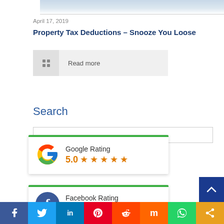[Figure (photo): Partial view of a laptop/keyboard image at the top of the page]
April 17, 2019
Property Tax Deductions – Snooze You Loose
Read more
Search
[Figure (infographic): Google Rating widget showing 5.0 stars with Google logo and green top border]
[Figure (infographic): Facebook Rating widget showing 5.0 stars with Facebook logo and green top border]
[Figure (infographic): Social media share bar at bottom with Facebook, Twitter, LinkedIn, Pinterest, Reddit, Mix, WhatsApp, and Share icons]